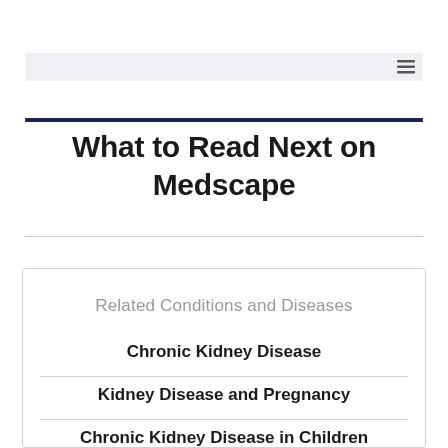What to Read Next on Medscape
Related Conditions and Diseases
Chronic Kidney Disease
Kidney Disease and Pregnancy
Chronic Kidney Disease in Children